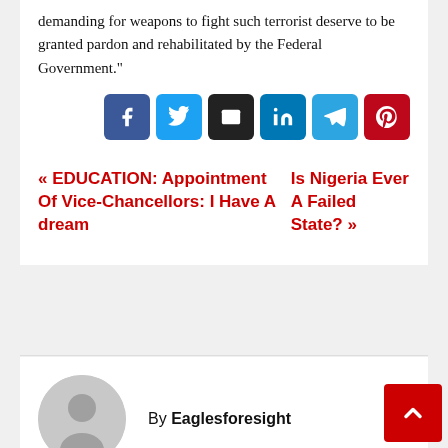demanding for weapons to fight such terrorist deserve to be granted pardon and rehabilitated by the Federal Government."
[Figure (other): Social share buttons: Facebook, Twitter, Email, LinkedIn, Telegram, Pinterest]
« EDUCATION: Appointment Of Vice-Chancellors: I Have A dream
Is Nigeria Ever A Failed State? »
[Figure (photo): Author avatar placeholder icon — grey circle with silhouette]
By Eaglesforesight